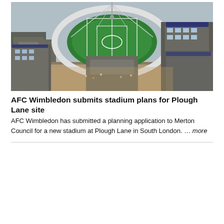[Figure (photo): Aerial rendering of a new football stadium surrounded by modern residential buildings with green pitched roof and solar panels, located in South London (Plough Lane site for AFC Wimbledon). The stadium has a bright green pitch visible from above, with a sweeping cable-stayed roof structure.]
AFC Wimbledon submits stadium plans for Plough Lane site
AFC Wimbledon has submitted a planning application to Merton Council for a new stadium at Plough Lane in South London. … more